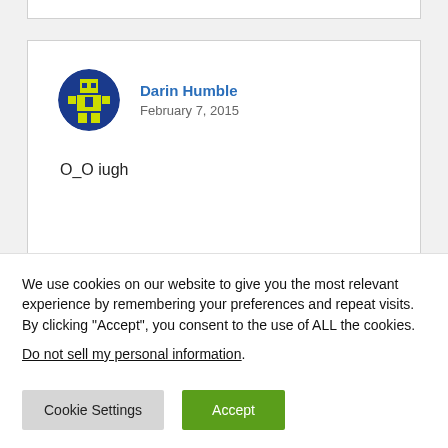Darin Humble
February 7, 2015

O_O iugh
We use cookies on our website to give you the most relevant experience by remembering your preferences and repeat visits. By clicking “Accept”, you consent to the use of ALL the cookies.
Do not sell my personal information.